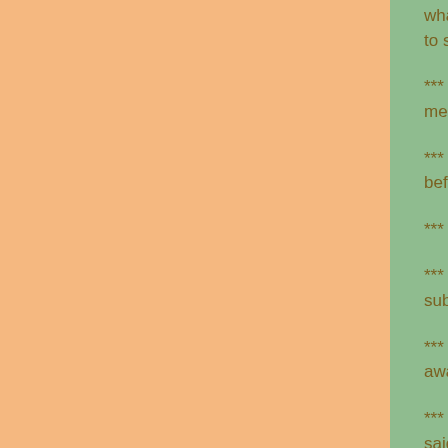what we possess, it is not a matter of attainment, and God uses exhortation to show us what we possess.
*** We break bread, if intelligently, not merely as forgiven sinners, but as members of the body of Christ.
*** God intends that we should breath by faith, the atmosphere of heaven before we get there.
*** Death is the principle of Christianity; resurrection is its power.
*** Christian obedience is not law-keeping, but delight in love, giving subjection to the will of another, whether expressed or not.
*** The blood of Christ puts my sins away - the death of Christ puts me away - the cross of Christ separates me from the world.
*** You never met a man who walked with God, who at the end of his life said, "I wish I hadn't done it?" and you never will.
*** The sovereignty of God does not lessen man's responsibility. Scripture treats man as a sinner, to